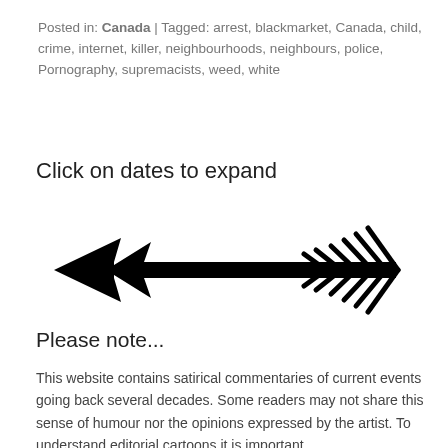Posted in: Canada | Tagged: arrest, blackmarket, Canada, child, crime, internet, killer, neighbourhoods, neighbours, police, Pornography, supremacists, weed, white
Click on dates to expand
[Figure (illustration): A decorative arrow pointing left with feather/chevron marks on the right side and a stylized arrowhead on the left, drawn in black.]
Please note...
This website contains satirical commentaries of current events going back several decades. Some readers may not share this sense of humour nor the opinions expressed by the artist. To understand editorial cartoons it is important